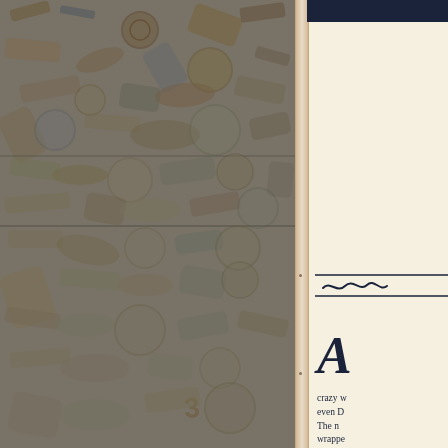[Figure (photo): Faded collage image of various vintage toys, game pieces, tools, badges, and small objects scattered densely across the left two-thirds of the page. The image appears washed out or faded with a pale, muted color palette.]
A
crazy w even D
The n wrapped with n